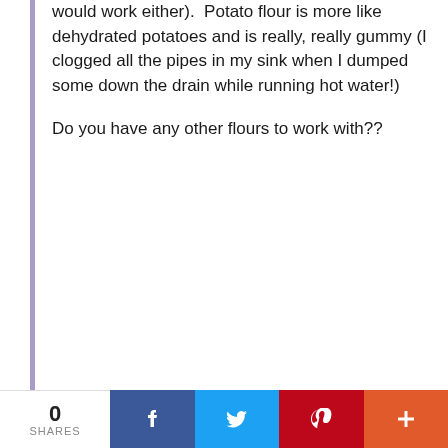would work either).  Potato flour is more like dehydrated potatoes and is really, really gummy (I clogged all the pipes in my sink when I dumped some down the drain while running hot water!)
Do you have any other flours to work with??
7/19/12  @  6:01 PM
MAM-mom
I don't know that it would work.  Rice flour is super-fine ground rice--think of rice that has gone through a grinder--and it has the properties of rice, so it will
0 SHARES